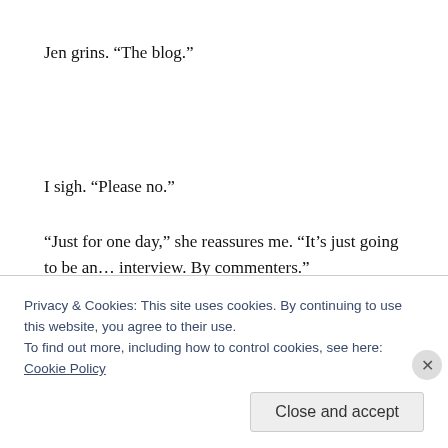Jen grins. “The blog.”
I sigh. “Please no.”
“Just for one day,” she reassures me. “It’s just going to be an… interview. By commenters.”
I grin. “Well. That’ll end well.”
Jen nods. “Of course. I’ll be in charge. If you’ll excuse me, I’d
Privacy & Cookies: This site uses cookies. By continuing to use this website, you agree to their use.
To find out more, including how to control cookies, see here: Cookie Policy